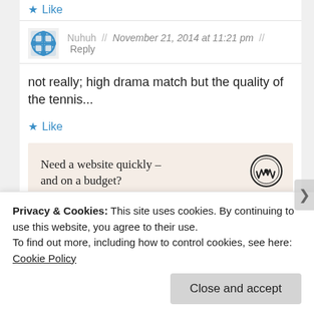Like
Nuhuh // November 21, 2014 at 11:21 pm // Reply
not really; high drama match but the quality of the tennis...
Like
[Figure (other): WordPress advertisement: Need a website quickly – and on a budget? with WordPress logo]
REPORT THIS AD
Privacy & Cookies: This site uses cookies. By continuing to use this website, you agree to their use.
To find out more, including how to control cookies, see here: Cookie Policy